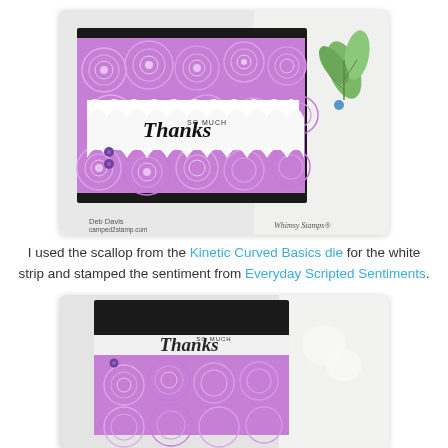[Figure (photo): A handmade greeting card featuring purple/lavender rose-patterned background with a white scallop-edged strip bearing the word 'Thanks so much' in script, with small purple gem embellishments. Black card base, green foliage in background. Watermark: Deb Davis camped2stamp.com and Whimsy Stamps®]
I used the scallop from the Kinetic Curved Basics die for the white strip and stamped the sentiment from Everyday Scripted Sentiments.
[Figure (photo): Close-up partial view of a similar handmade card with purple rose-patterned scalloped panel on black card base, white strip with 'Thanks so much' in script partially visible, small purple gem embellishment visible.]